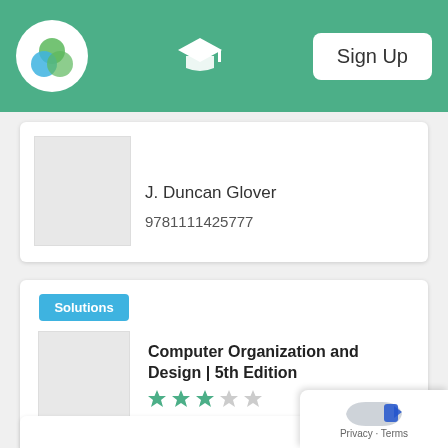Sign Up
J. Duncan Glover
9781111425777
[Figure (screenshot): Book thumbnail placeholder]
Solutions
Computer Organization and Design | 5th Edition
★★★☆☆ (3 out of 5 stars)
David A. Patterson
9780124077263